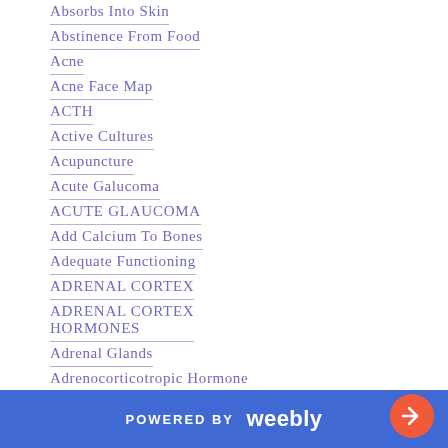Absorbs Into Skin
Abstinence From Food
Acne
Acne Face Map
ACTH
Active Cultures
Acupuncture
Acute Galucoma
ACUTE GLAUCOMA
Add Calcium To Bones
Adequate Functioning
ADRENAL CORTEX
ADRENAL CORTEX HORMONES
Adrenal Glands
Adrenocorticotropic Hormone
Affection
POWERED BY weebly